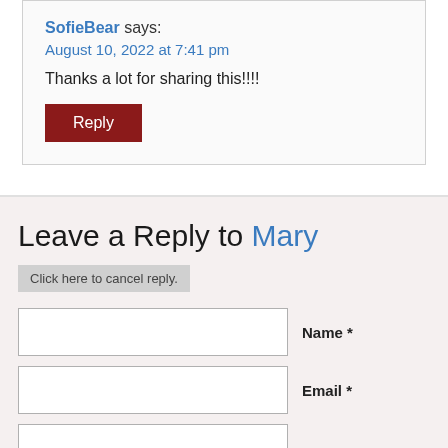SofieBear says: August 10, 2022 at 7:41 pm
Thanks a lot for sharing this!!!!
Reply
Leave a Reply to Mary
Click here to cancel reply.
Name *
Email *